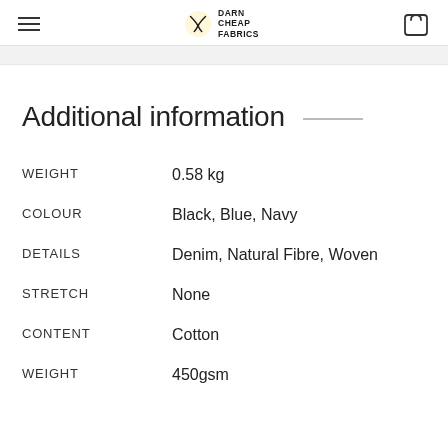Darn Cheap Fabrics
Additional information
| Attribute | Value |
| --- | --- |
| WEIGHT | 0.58 kg |
| COLOUR | Black, Blue, Navy |
| DETAILS | Denim, Natural Fibre, Woven |
| STRETCH | None |
| CONTENT | Cotton |
| WEIGHT | 450gsm |